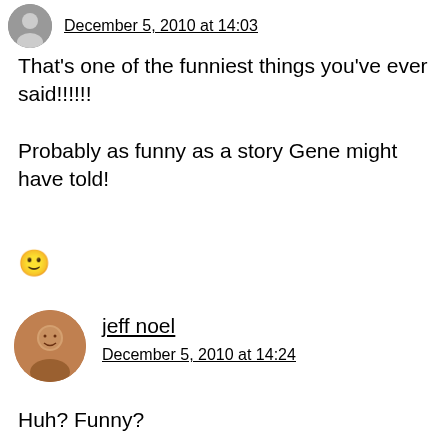December 5, 2010 at 14:03
That's one of the funniest things you've ever said!!!!!!
Probably as funny as a story Gene might have told!
🙂
jeff noel
December 5, 2010 at 14:24
Huh? Funny?